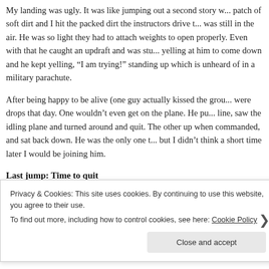My landing was ugly. It was like jumping out a second story w... patch of soft dirt and I hit the packed dirt the instructors drive t... was still in the air. He was so light they had to attach weights to... open properly. Even with that he caught an updraft and was stu... yelling at him to come down and he kept yelling, "I am trying!"... standing up which is unheard of in a military parachute.
After being happy to be alive (one guy actually kissed the grou... were drops that day. One wouldn't even get on the plane. He pu... line, saw the idling plane and turned around and quit. The other... up when commanded, and sat back down. He was the only one t... but I didn't think a short time later I would be joining him.
Last jump: Time to quit
Privacy & Cookies: This site uses cookies. By continuing to use this website, you agree to their use.
To find out more, including how to control cookies, see here: Cookie Policy